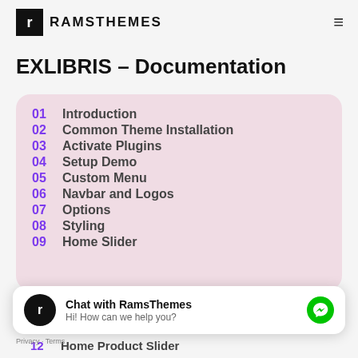RAMSTHEMES
EXLIBRIS – Documentation
01  Introduction
02  Common Theme Installation
03  Activate Plugins
04  Setup Demo
05  Custom Menu
06  Navbar and Logos
07  Options
08  Styling
09  Home Slider
12  Home Product Slider
Chat with RamsThemes
Hi! How can we help you?
Privacy · Terms